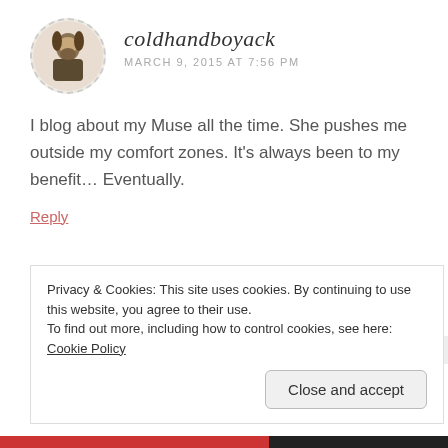[Figure (illustration): Circular dashed-border avatar of user coldhandboyack showing a historical portrait illustration]
coldhandboyack
MARCH 9, 2015 AT 7:56 PM
I blog about my Muse all the time. She pushes me outside my comfort zones. It's always been to my benefit... Eventually.
Reply
[Figure (photo): Circular dashed-border avatar of user aspiringwriter22 showing a photo of a woman with glasses]
aspiringwriter22
Privacy & Cookies: This site uses cookies. By continuing to use this website, you agree to their use.
To find out more, including how to control cookies, see here: Cookie Policy
Close and accept